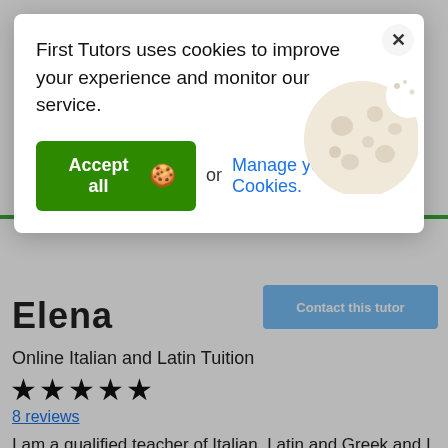[Figure (screenshot): Cookie consent modal overlay on a tutoring website. Modal contains text about cookies, an 'Accept all' green button with cookie icon, 'or' text, and a 'Manage your Cookies.' link. A cookie illustration is shown in the top-right of the modal. Behind the modal: tutor name 'Elena', subtitle 'Online Italian and Latin Tuition', 4 black stars, '8 reviews' in blue, a blue 'Contact this tutor' button, and the beginning of a biography text.]